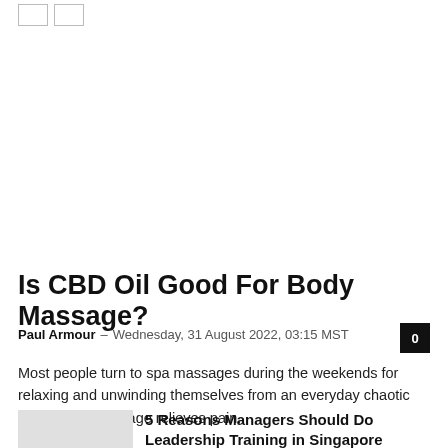[icon boxes]
Is CBD Oil Good For Body Massage?
Paul Armour – Wednesday, 31 August 2022, 03:15 MST
Most people turn to spa massages during the weekends for relaxing and unwinding themselves from an everyday chaotic life. A good massage relieves pain...
5 Reasons Managers Should Do Leadership Training in Singapore
Wednesday, 31 August 2022, 00:47 MST